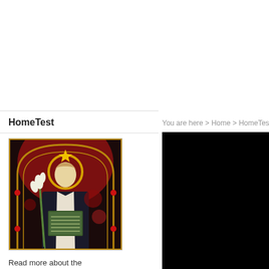HomeTest
You are here > Home > HomeTest
[Figure (photo): Stained glass image of a saint or religious figure in dark robes holding a book and lily, with a golden halo and red ornamental background]
Read more about the